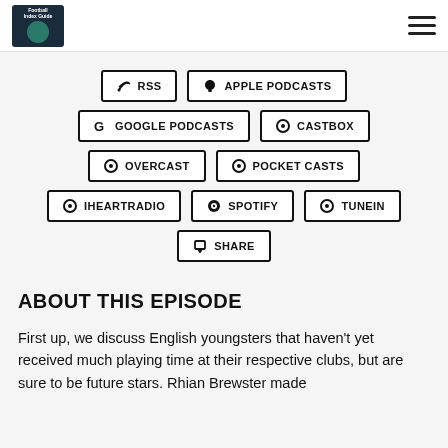Football Index Guide Podcast
RSS
APPLE PODCASTS
GOOGLE PODCASTS
CASTBOX
OVERCAST
POCKET CASTS
IHEARTRADIO
SPOTIFY
TUNEIN
SHARE
ABOUT THIS EPISODE
First up, we discuss English youngsters that haven't yet received much playing time at their respective clubs, but are sure to be future stars. Rhian Brewster made